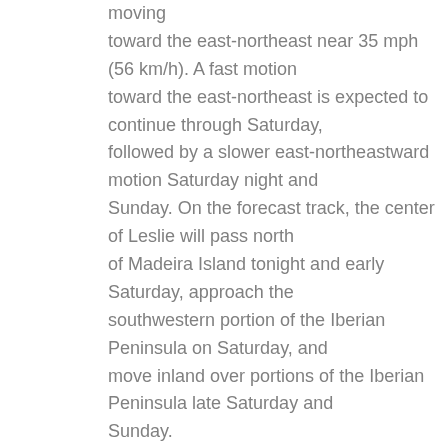moving toward the east-northeast near 35 mph (56 km/h). A fast motion toward the east-northeast is expected to continue through Saturday, followed by a slower east-northeastward motion Saturday night and Sunday. On the forecast track, the center of Leslie will pass north of Madeira Island tonight and early Saturday, approach the southwestern portion of the Iberian Peninsula on Saturday, and move inland over portions of the Iberian Peninsula late Saturday and Sunday.

Maximum sustained winds are near 85 mph (140 km/h) with higher gusts. Leslie is expected to transition into a hurricane